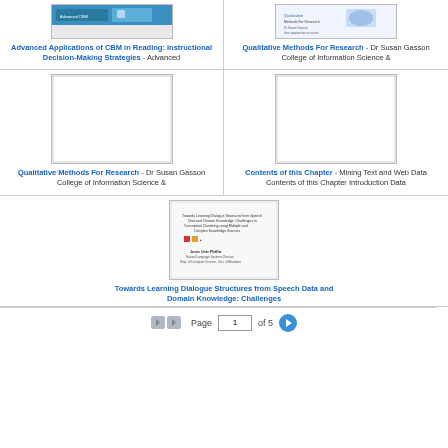[Figure (screenshot): Thumbnail of CBM Reading instructional slides with blue header]
Advanced Applications of CBM in Reading: Instructional Decision-Making Strategies - Advanced
[Figure (screenshot): Thumbnail of Qualitative Methods for Research with light blue logo]
Qualitative Methods For Research - Dr Susan Gasson College of Information Science &
[Figure (screenshot): Blank white thumbnail for Qualitative Methods For Research]
Qualitative Methods For Research - Dr Susan Gasson College of Information Science &
[Figure (screenshot): Blank white thumbnail for Contents of this Chapter]
Contents of this Chapter - Mining Text and Web Data Contents of this Chapter Introduction Data
[Figure (screenshot): Thumbnail of Towards Learning Dialogue Structures from Speech Data and Domain Knowledge presentation slide]
Towards Learning Dialogue Structures from Speech Data and Domain Knowledge: Challenges
Page 1 of 5